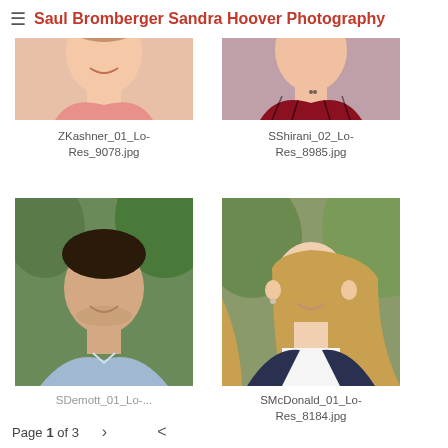≡ Saul Bromberger Sandra Hoover Photography
[Figure (photo): Portrait of young man wearing pink shirt, cropped at top, photo thumbnail]
ZKashner_01_Lo-Res_9078.jpg
[Figure (photo): Portrait of young man wearing red plaid shirt, cropped at top, photo thumbnail]
SShirani_02_Lo-Res_8985.jpg
[Figure (photo): Portrait of young man with dark hair wearing light blue dress shirt, outdoor background]
SDemott_01_Lo-...
[Figure (photo): Portrait of young woman with long blonde hair wearing dark blazer over white top, outdoor background]
SMcDonald_01_Lo-Res_8184.jpg
Page 1 of 3  >  <